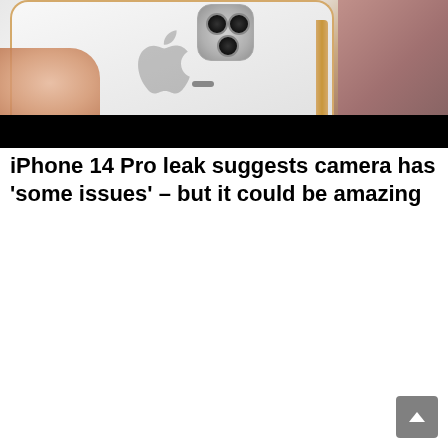[Figure (photo): Close-up photo of a white/gold iPhone (back panel showing Apple logo and triple camera system), held by a hand, with a black bar at the bottom of the image area]
iPhone 14 Pro leak suggests camera has ‘some issues’ – but it could be amazing